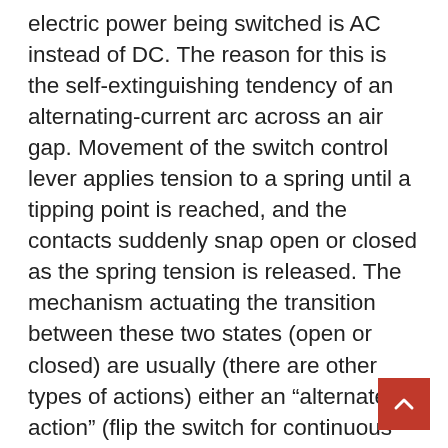electric power being switched is AC instead of DC. The reason for this is the self-extinguishing tendency of an alternating-current arc across an air gap. Movement of the switch control lever applies tension to a spring until a tipping point is reached, and the contacts suddenly snap open or closed as the spring tension is released. The mechanism actuating the transition between these two states (open or closed) are usually (there are other types of actions) either an “alternate action” (flip the switch for continuous “on” or “off”) or “momentary” (push for “on” and release for “off”) type. The most common type is a “push-to-make” (or normally-open or NO) switch, which makes contact when the button is pressed and